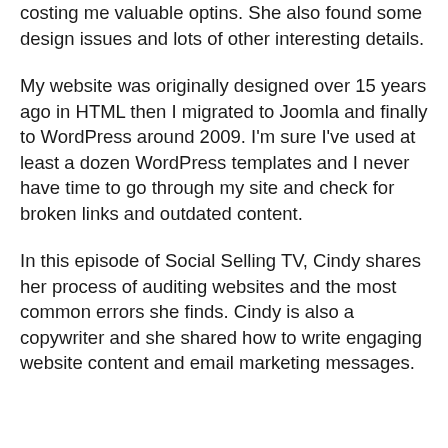costing me valuable optins. She also found some design issues and lots of other interesting details.
My website was originally designed over 15 years ago in HTML then I migrated to Joomla and finally to WordPress around 2009. I'm sure I've used at least a dozen WordPress templates and I never have time to go through my site and check for broken links and outdated content.
In this episode of Social Selling TV, Cindy shares her process of auditing websites and the most common errors she finds. Cindy is also a copywriter and she shared how to write engaging website content and email marketing messages.